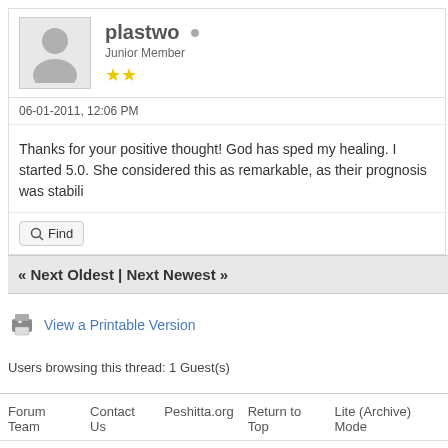plastwo — Junior Member, 2 stars
06-01-2011, 12:06 PM
Thanks for your positive thought! God has sped my healing. I started 5.0. She considered this as remarkable, as their prognosis was stabili
Find
« Next Oldest | Next Newest »
View a Printable Version
Users browsing this thread: 1 Guest(s)
Forum Team   Contact Us   Peshitta.org   Return to Top   Lite (Archive) Mode
Powered By MyBB, © 2002-2022 MyBB Group.